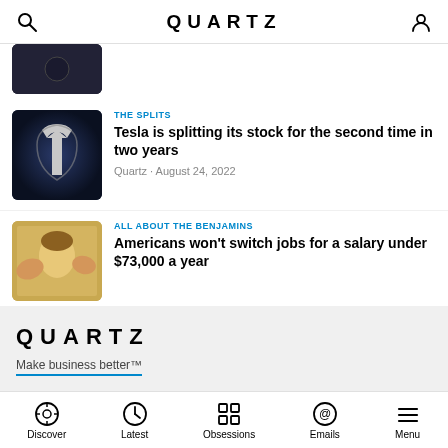QUARTZ
[Figure (photo): Partially visible dark image at top of feed]
THE SPLITS
Tesla is splitting its stock for the second time in two years
Quartz · August 24, 2022
[Figure (photo): Tesla logo on dark blue car hood]
ALL ABOUT THE BENJAMINS
Americans won't switch jobs for a salary under $73,000 a year
[Figure (photo): Benjamin Franklin portrait on currency being printed]
QUARTZ
Make business better™
Discover · Latest · Obsessions · Emails · Menu